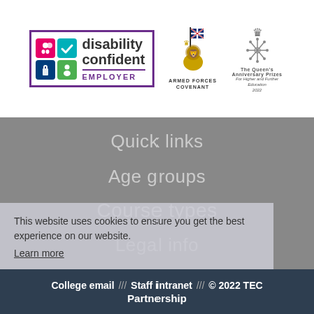[Figure (logo): Disability Confident Employer logo with purple border and coloured icons]
[Figure (logo): Armed Forces Covenant logo with lion holding flag]
[Figure (logo): The Queen's Anniversary Prizes emblem 2022]
Quick links
Age groups
Course types
Legal info
This website uses cookies to ensure you get the best experience on our website.
Learn more
College email /// Staff intranet /// © 2022 TEC Partnership